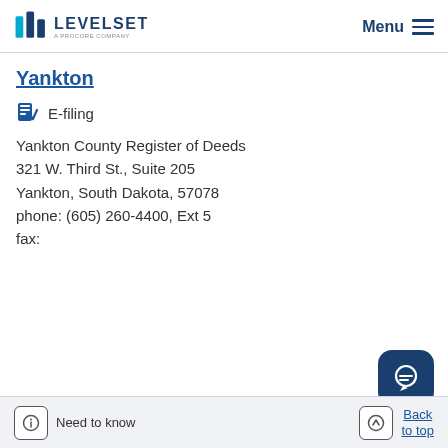LEVELSET A PROCORE COMPANY — Menu
Yankton
E-filing
Yankton County Register of Deeds
321 W. Third St., Suite 205
Yankton, South Dakota, 57078
phone: (605) 260-4400, Ext 5
fax:
Need to know   Back to top